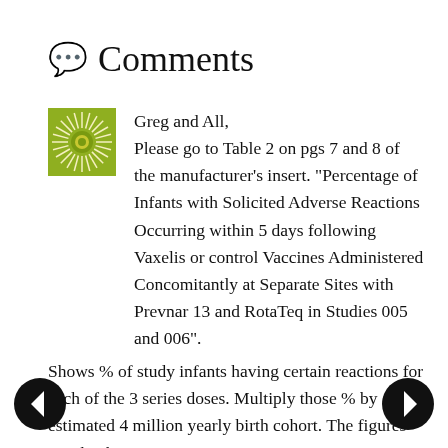💬 Comments
Greg and All,
Please go to Table 2 on pgs 7 and 8 of the manufacturer's insert. "Percentage of Infants with Solicited Adverse Reactions Occurring within 5 days following Vaxelis or control Vaccines Administered Concomitantly at Separate Sites with Prevnar 13 and RotaTeq in Studies 005 and 006".
Shows % of study infants having certain reactions for each of the 3 series doses. Multiply those % by an estimated 4 million yearly birth cohort. The figures are shocking.